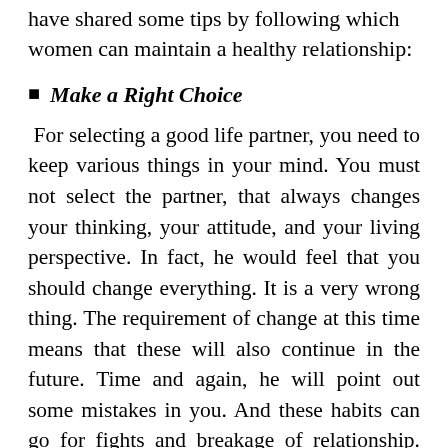have shared some tips by following which women can maintain a healthy relationship:
Make a Right Choice
For selecting a good life partner, you need to keep various things in your mind. You must not select the partner, that always changes your thinking, your attitude, and your living perspective. In fact, he would feel that you should change everything. It is a very wrong thing. The requirement of change at this time means that these will also continue in the future. Time and again, he will point out some mistakes in you. And these habits can go for fights and breakage of relationship. Well, it is not that you would be right every